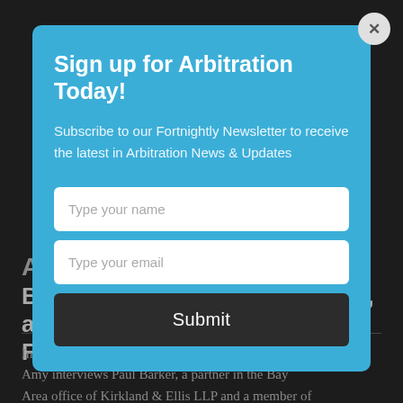Sign up for Arbitration Today!
Subscribe to our Fortnightly Newsletter to receive the latest in Arbitration News & Updates
Type your name
Type your email
Submit
Barker, International Arbitrator, and Fellow, Stanford Law School
In this episode of the Arbitration Conversation, Amy interviews Paul Barker, a partner in the Bay Area office of Kirkland & Ellis LLP and a member of